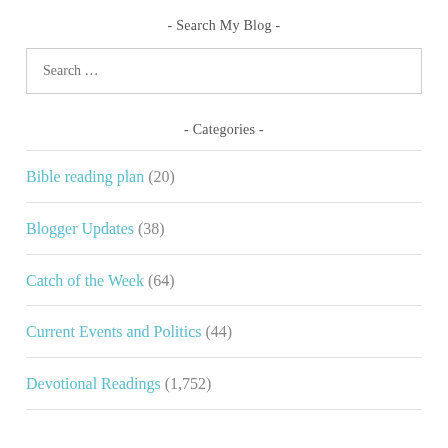- Search My Blog -
Search …
- Categories -
Bible reading plan (20)
Blogger Updates (38)
Catch of the Week (64)
Current Events and Politics (44)
Devotional Readings (1,752)